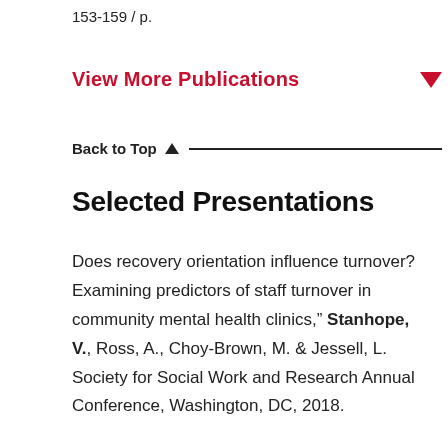153-159 / p.
View More Publications
Back to Top
Selected Presentations
Does recovery orientation influence turnover? Examining predictors of staff turnover in community mental health clinics," Stanhope, V., Ross, A., Choy-Brown, M. & Jessell, L. Society for Social Work and Research Annual Conference, Washington, DC, 2018.